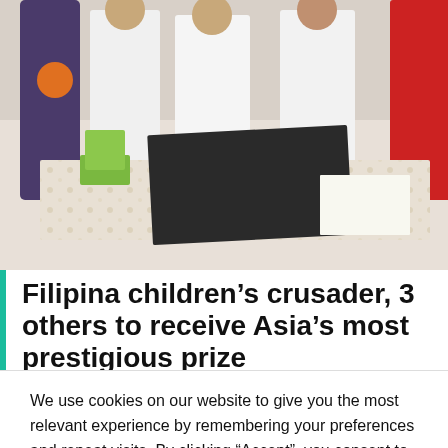[Figure (photo): Group of people in white lab coats standing around a table with documents and a dark board/tray, in a room with a patterned floor. A green chair is visible.]
Filipina children’s crusader, 3 others to receive Asia’s most prestigious prize
We use cookies on our website to give you the most relevant experience by remembering your preferences and repeat visits. By clicking “Accept”, you consent to the use of ALL the cookies.
Do not sell my personal information.